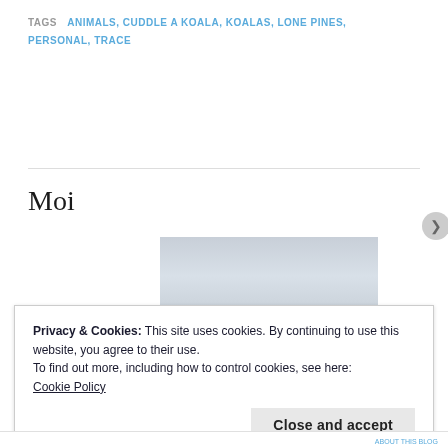TAGS  ANIMALS, CUDDLE A KOALA, KOALAS, LONE PINES, PERSONAL, TRACE
Moi
[Figure (photo): Outdoor photograph showing a cloudy sky with dark tree silhouettes and a person visible at the bottom, taken at Lone Pines]
Privacy & Cookies: This site uses cookies. By continuing to use this website, you agree to their use.
To find out more, including how to control cookies, see here:
Cookie Policy
Close and accept